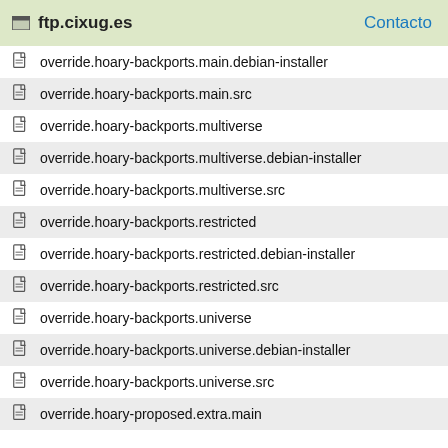ftp.cixug.es  Contacto
override.hoary-backports.main.debian-installer
override.hoary-backports.main.src
override.hoary-backports.multiverse
override.hoary-backports.multiverse.debian-installer
override.hoary-backports.multiverse.src
override.hoary-backports.restricted
override.hoary-backports.restricted.debian-installer
override.hoary-backports.restricted.src
override.hoary-backports.universe
override.hoary-backports.universe.debian-installer
override.hoary-backports.universe.src
override.hoary-proposed.extra.main